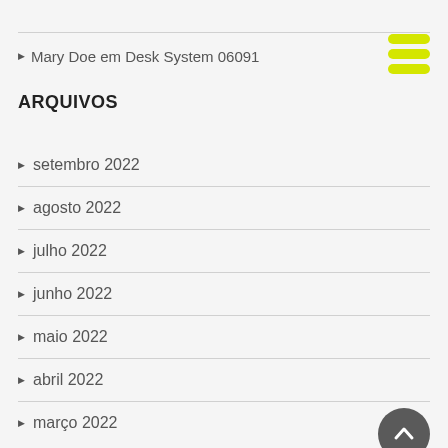Mary Doe em Desk System 06091
ARQUIVOS
setembro 2022
agosto 2022
julho 2022
junho 2022
maio 2022
abril 2022
março 2022